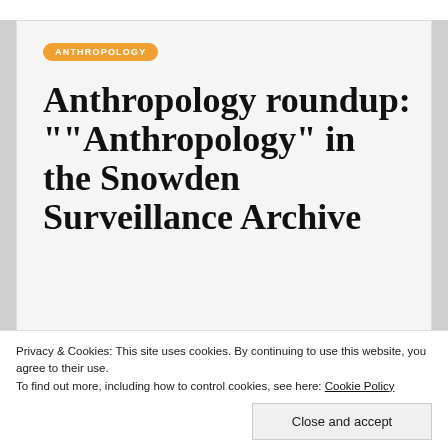ANTHROPOLOGY
Anthropology roundup: ““Anthropology” in the Snowden Surveillance Archive
By admin   7 years ago
Privacy & Cookies: This site uses cookies. By continuing to use this website, you agree to their use.
To find out more, including how to control cookies, see here: Cookie Policy
Close and accept
Savage Minds: Notes and Queries in Anthropology